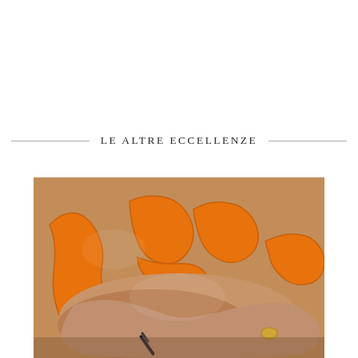LE ALTRE ECCELLENZE
[Figure (photo): Close-up photograph of a craftsperson's hands holding and working on an orange-colored anatomical or decorative model, possibly a jaw or bone structure, with a small tool visible. The model is orange with cream/white details and red accents. A gold ring is visible on one finger.]